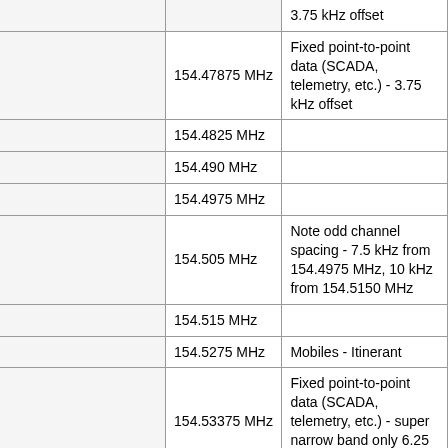| (col1) | Frequency | Notes |
| --- | --- | --- |
|  |  | 3.75 kHz offset |
|  | 154.47875 MHz | Fixed point-to-point data (SCADA, telemetry, etc.) - 3.75 kHz offset |
|  | 154.4825 MHz |  |
|  | 154.490 MHz |  |
|  | 154.4975 MHz |  |
|  | 154.505 MHz | Note odd channel spacing - 7.5 kHz from 154.4975 MHz, 10 kHz from 154.5150 MHz |
|  | 154.515 MHz |  |
|  | 154.5275 MHz | Mobiles - Itinerant |
|  | 154.53375 MHz | Fixed point-to-point data (SCADA, telemetry, etc.) - super narrow band only 6.25 kHz channel |
|  | 154.540 MHz |  |
|  | 154.5475 MHz |  |
|  | 154.555 MHz |  |